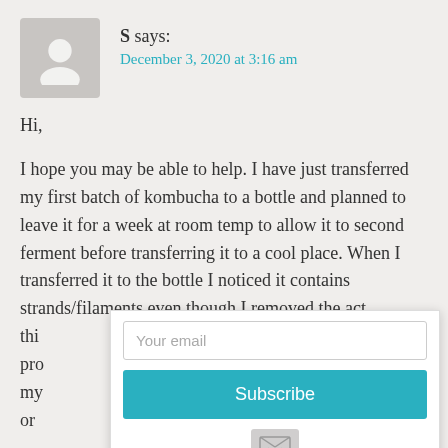S says:
December 3, 2020 at 3:16 am
Hi,

I hope you may be able to help. I have just transferred my first batch of kombucha to a bottle and planned to leave it for a week at room temp to allow it to second ferment before transferring it to a cool place. When I transferred it to the bottle I noticed it contains strands/filaments even though I removed the act... thi... pro... my... or... drink it in a couple of weeks? I don't want